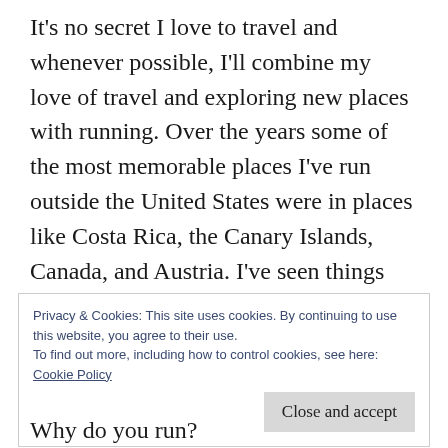It's no secret I love to travel and whenever possible, I'll combine my love of travel and exploring new places with running. Over the years some of the most memorable places I've run outside the United States were in places like Costa Rica, the Canary Islands, Canada, and Austria. I've seen things when running that I would have missed if I would have just driven by it in a car and I've often gone back later to explore the area more in-depth.
Privacy & Cookies: This site uses cookies. By continuing to use this website, you agree to their use.
To find out more, including how to control cookies, see here:
Cookie Policy
Close and accept
Why do you run?